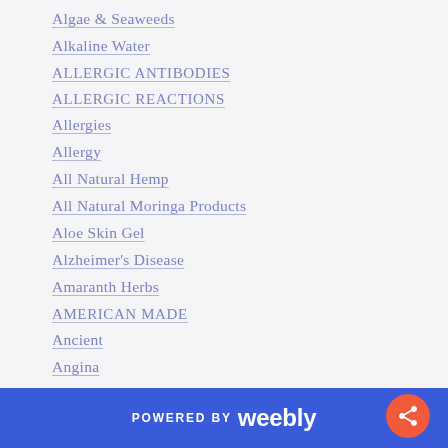Algae & Seaweeds
Alkaline Water
ALLERGIC ANTIBODIES
ALLERGIC REACTIONS
Allergies
Allergy
All Natural Hemp
All Natural Moringa Products
Aloe Skin Gel
Alzheimer's Disease
Amaranth Herbs
AMERICAN MADE
Ancient
Angina
Animals
Anthocyanidin
Antiaging
POWERED BY weebly